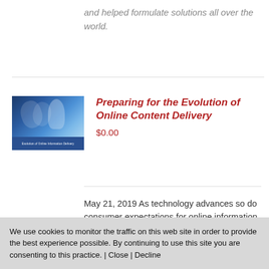and helped formulate solutions all over the world.
[Figure (photo): Book cover image for 'Preparing for the Evolution of Online Information Delivery' with blue gradient background showing figures and text bar at bottom.]
Preparing for the Evolution of Online Content Delivery
$0.00
May 21, 2019 As technology advances so do consumer expectations for online information access. No longer do users
We use cookies to monitor the traffic on this web site in order to provide the best experience possible. By continuing to use this site you are consenting to this practice. | Close | Decline